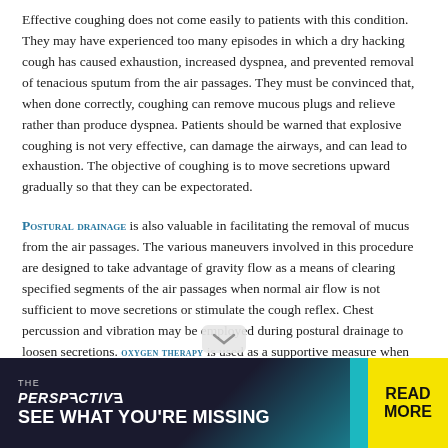Effective coughing does not come easily to patients with this condition. They may have experienced too many episodes in which a dry hacking cough has caused exhaustion, increased dyspnea, and prevented removal of tenacious sputum from the air passages. They must be convinced that, when done correctly, coughing can remove mucous plugs and relieve rather than produce dyspnea. Patients should be warned that explosive coughing is not very effective, can damage the airways, and can lead to exhaustion. The objective of coughing is to move secretions upward gradually so that they can be expectorated.
POSTURAL DRAINAGE is also valuable in facilitating the removal of mucus from the air passages. The various maneuvers involved in this procedure are designed to take advantage of gravity flow as a means of clearing specified segments of the air passages when normal air flow is not sufficient to move secretions or stimulate the cough reflex. Chest percussion and vibration may be employed during postural drainage to loosen secretions. OXYGEN THERAPY is used as a supportive measure when there is
[Figure (other): Advertisement banner: dark background with 'THE PERSPECTIVE' in stylized/mirrored text, tagline 'SEE WHAT YOU'RE MISSING', teal accent bar, and yellow 'READ MORE' button on right.]